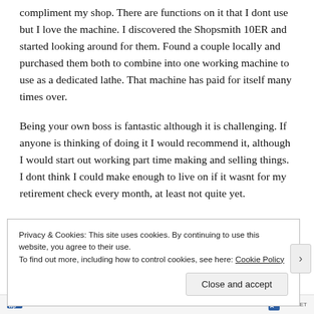compliment my shop. There are functions on it that I dont use but I love the machine. I discovered the Shopsmith 10ER and started looking around for them. Found a couple locally and purchased them both to combine into one working machine to use as a dedicated lathe. That machine has paid for itself many times over.
Being your own boss is fantastic although it is challenging. If anyone is thinking of doing it I would recommend it, although I would start out working part time making and selling things. I dont think I could make enough to live on if it wasnt for my retirement check every month, at least not quite yet.
Privacy & Cookies: This site uses cookies. By continuing to use this website, you agree to their use.
To find out more, including how to control cookies, see here: Cookie Policy